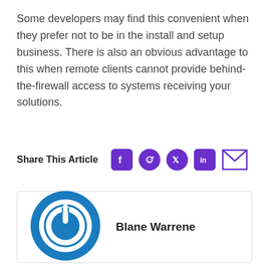Some developers may find this convenient when they prefer not to be in the install and setup business. There is also an obvious advantage to this when remote clients cannot provide behind-the-firewall access to systems receiving your solutions.
Share This Article
[Figure (infographic): Share This Article social media icons: Facebook, Reddit, Twitter, LinkedIn, Email]
Blane Warrene